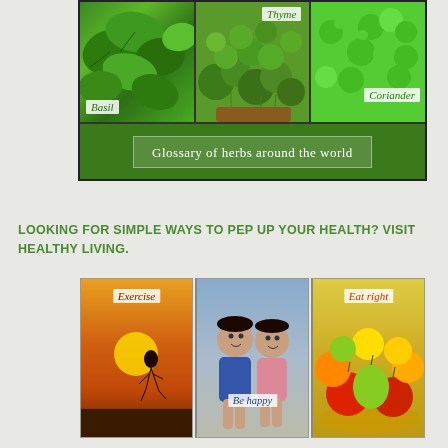[Figure (illustration): Collage of three herb photos (Basil, Thyme, Coriander) arranged in a 3-panel grid with a dark green banner below reading 'Glossary of herbs around the world']
LOOKING FOR SIMPLE WAYS TO PEP UP YOUR HEALTH? VISIT HEALTHY LIVING.
[Figure (illustration): Collage of three health-related photos: Exercise (runner silhouette at sunset), Be happy (two smiling children), Eat right (bowl of colorful fruits)]